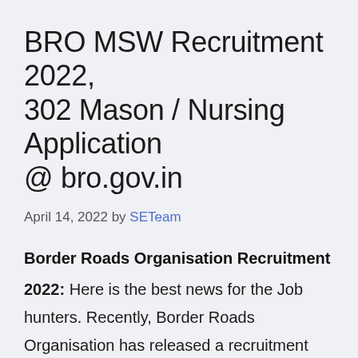BRO MSW Recruitment 2022, 302 Mason / Nursing Application @ bro.gov.in
April 14, 2022 by SETeam
Border Roads Organisation Recruitment
2022: Here is the best news for the Job hunters. Recently, Border Roads Organisation has released a recruitment notice to fill 302 Vacancies. Know the post-wise & category wise, district wise/ region wise Border Roads